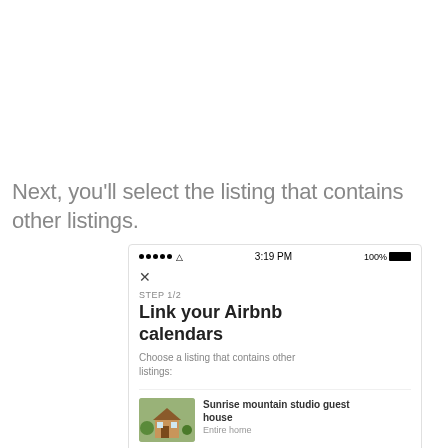Next, you'll select the listing that contains other listings.
[Figure (screenshot): Mobile app screenshot showing 'Link your Airbnb calendars' screen, Step 1/2. Shows a listing selection UI with 'Sunrise mountain studio guest house' (Entire home) and 'Spacious room for a guest and' as options.]